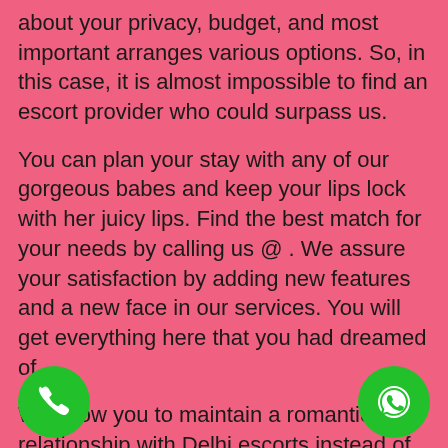about your privacy, budget, and most important arranges various options. So, in this case, it is almost impossible to find an escort provider who could surpass us.
You can plan your stay with any of our gorgeous babes and keep your lips lock with her juicy lips. Find the best match for your needs by calling us @ . We assure your satisfaction by adding new features and a new face in our services. You will get everything here that you had dreamed of.
We allow you to maintain a romantic relationship with Delhi escorts instead of rubbing their vagina with your cock. It's an old-fashioned way to get ced by watching a girl undressing and forming some erotic moves with her boob.
[Figure (illustration): Green phone call button (circular)]
[Figure (illustration): Green WhatsApp button (circular)]